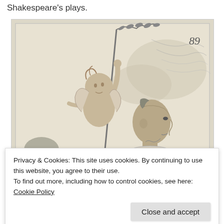Shakespeare's plays.
[Figure (illustration): Historical engraving numbered 89 showing a cherub or putto figure climbing or holding a long staff/branch with laurel leaves at the top, and below it a man in Elizabethan-era clothing looking upward in profile view. The image is a detailed black and white etching on cream/aged paper.]
Privacy & Cookies: This site uses cookies. By continuing to use this website, you agree to their use.
To find out more, including how to control cookies, see here: Cookie Policy
Close and accept